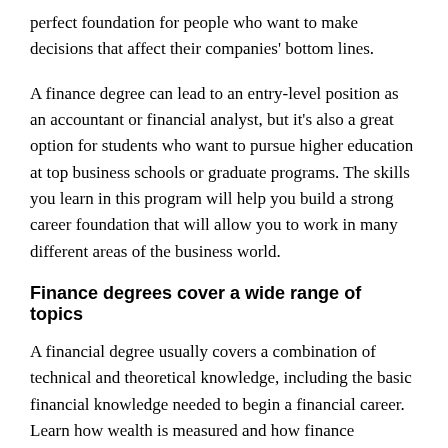perfect foundation for people who want to make decisions that affect their companies' bottom lines.
A finance degree can lead to an entry-level position as an accountant or financial analyst, but it's also a great option for students who want to pursue higher education at top business schools or graduate programs. The skills you learn in this program will help you build a strong career foundation that will allow you to work in many different areas of the business world.
Finance degrees cover a wide range of topics
A financial degree usually covers a combination of technical and theoretical knowledge, including the basic financial knowledge needed to begin a financial career. Learn how wealth is measured and how finance influences and shapes corporate behavior. Economics and statistics are also covered because they are